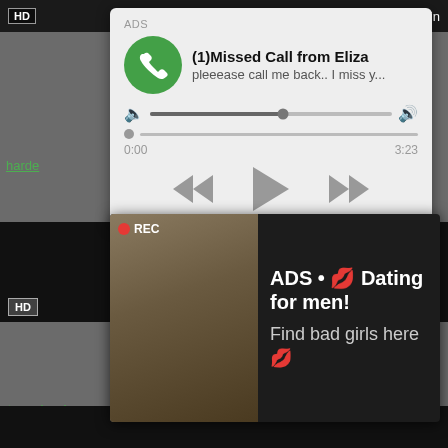[Figure (screenshot): Top dark video strip with HD badge and 12 min duration label]
[Figure (screenshot): Audio ad popup: (1)Missed Call from Eliza, pleeease call me back.. I miss y..., with progress bar showing 0:00 to 3:23, rewind/play/fast-forward controls. ADS label at top.]
hard... zec...
[Figure (screenshot): Dating ad popup showing woman taking selfie with REC badge and camera frame overlay. ADS • 💋 Dating for men! Find bad girls here 💋]
[Figure (screenshot): Video thumbnail: HD badge, min label on dark background]
Rough Casting Fuck Teen Hardcore Ass
teen, hardcore, ass, petite, rough, fuck, bdsm, fetish, cast...
[Figure (screenshot): Bottom black video strip]